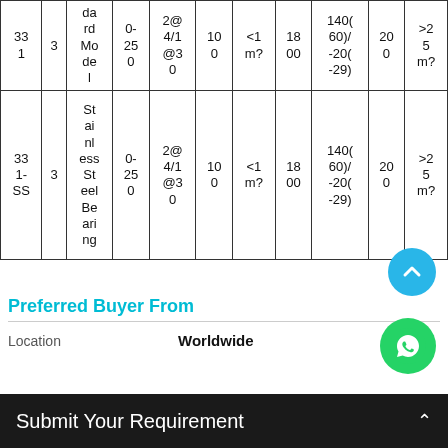| 331 | 3 | da rd Mo de l | 0-250 | 2@ 4/1 @3 0 | 10 0 | <1 m? | 18 00 | 140(60)/ -20(-29) | 20 0 | >25 m? |
| 331-SS | 3 | St ai nl ess St eel Be ar i ng | 0-250 | 2@ 4/1 @3 0 | 10 0 | <1 m? | 18 00 | 140(60)/ -20(-29) | 20 0 | >25 m? |
Preferred Buyer From
Location   Worldwide
Submit Your Requirement